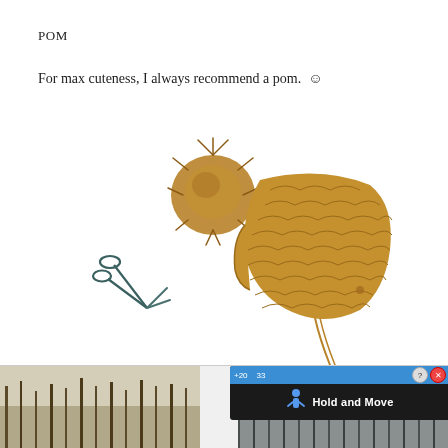POM
For max cuteness, I always recommend a pom. ☺
[Figure (photo): A crocheted baby bonnet in tan/caramel color with long tie strings and a large fluffy pom-pom separated from the hat, with a pair of dark teal scissors resting nearby on a white background.]
[Figure (screenshot): Advertisement bar at bottom of page showing a 'Hold and Move' app popup overlay on a nature/outdoor background image.]